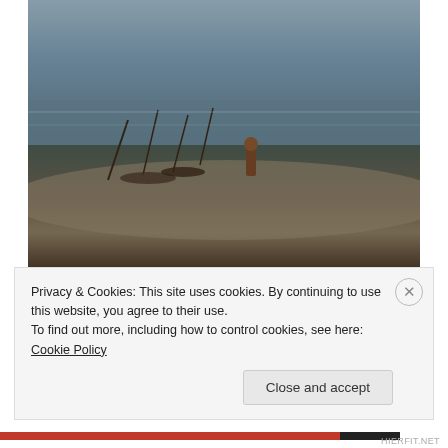[Figure (photo): A young Buddhist monk standing at the shore of the Mekong River, with boats and fishing equipment visible near the water.]
Young Monk at the Mekong River
[Figure (other): Advertisement showing a person holding an OPEN sign on the left half, and on the right a dark navy background with text 'HOSTING THAT MEANS BUSINESS.' and a 'LEARN MORE' button.]
Privacy & Cookies: This site uses cookies. By continuing to use this website, you agree to their use.
To find out more, including how to control cookies, see here: Cookie Policy